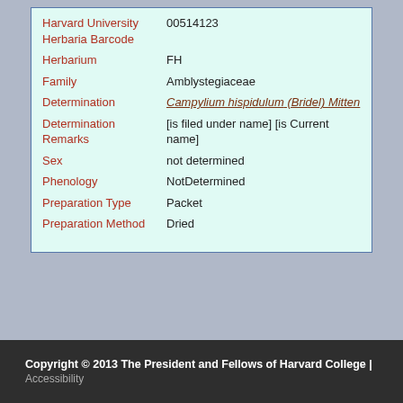| Field | Value |
| --- | --- |
| Harvard University Herbaria Barcode | 00514123 |
| Herbarium | FH |
| Family | Amblystegiaceae |
| Determination | Campylium hispidulum (Bridel) Mitten |
| Determination Remarks | [is filed under name] [is Current name] |
| Sex | not determined |
| Phenology | NotDetermined |
| Preparation Type | Packet |
| Preparation Method | Dried |
Copyright © 2013 The President and Fellows of Harvard College | Accessibility